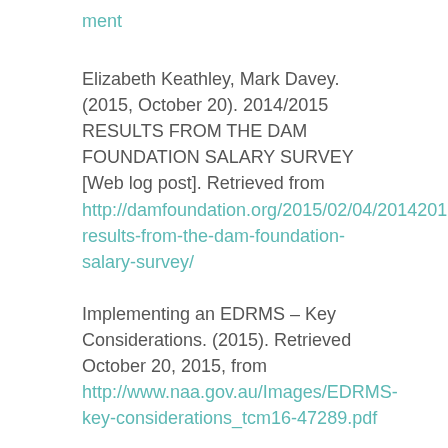ment
Elizabeth Keathley, Mark Davey. (2015, October 20). 2014/2015 RESULTS FROM THE DAM FOUNDATION SALARY SURVEY [Web log post]. Retrieved from http://damfoundation.org/2015/02/04/20142015-results-from-the-dam-foundation-salary-survey/
Implementing an EDRMS – Key Considerations. (2015). Retrieved October 20, 2015, from http://www.naa.gov.au/Images/EDRMS-key-considerations_tcm16-47289.pdf
Library science. (2015, September 21). In Wikipedia. Retrieved October 20, 2015, from https://en.wikipedia.org/wiki/Library_science
Mai, J. (2013). The Quality and Qualities of